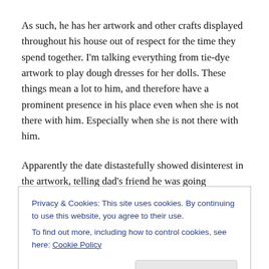As such, he has her artwork and other crafts displayed throughout his house out of respect for the time they spend together. I'm talking everything from tie-dye artwork to play dough dresses for her dolls. These things mean a lot to him, and therefore have a prominent presence in his place even when she is not there with him. Especially when she is not there with him.
Apparently the date distastefully showed disinterest in the artwork, telling dad's friend he was going overboard. He
Privacy & Cookies: This site uses cookies. By continuing to use this website, you agree to their use. To find out more, including how to control cookies, see here: Cookie Policy
daughter. They go on adventures together, play games